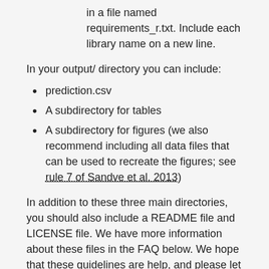in a file named requirements_r.txt. Include each library name on a new line.
In your output/ directory you can include:
prediction.csv
A subdirectory for tables
A subdirectory for figures (we also recommend including all data files that can be used to recreate the figures; see rule 7 of Sandve et al. 2013)
In addition to these three main directories, you should also include a README file and LICENSE file. We have more information about these files in the FAQ below. We hope that these guidelines are help, and please let us know if you have any questions.
CODE RESUBMISSION PROCESS
Once you think you are ready to resubmit, here’s a checklist that you can follow to help ensure that your